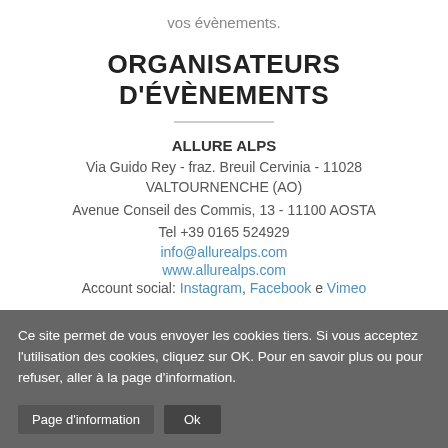vos évènements.
ORGANISATEURS D'ÉVÈNEMENTS
ALLURE ALPS
Via Guido Rey - fraz. Breuil Cervinia - 11028 VALTOURNENCHE (AO)
Avenue Conseil des Commis, 13 - 11100 AOSTA
Tel +39 0165 524929
info@allurealps.com
www.allurealps.com
Account social: Instagram, Facebook e Vimeo
Ce site permet de vous envoyer les cookies tiers. Si vous acceptez l'utilisation des cookies, cliquez sur OK. Pour en savoir plus ou pour refuser, aller à la page d'information.